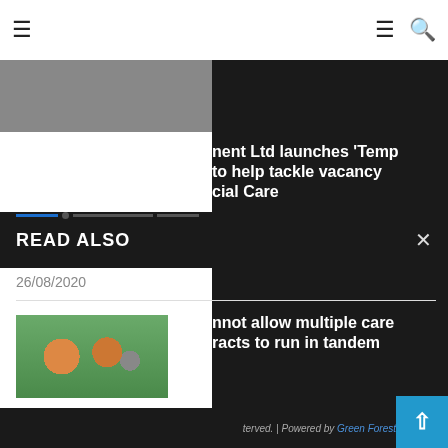Navigation bar with menu and search icons
[Figure (screenshot): Top image strip partially visible]
READ ALSO
nent Ltd launches ‘Temp to help tackle vacancy cial Care
26/08/2020
[Figure (photo): Group photo of people outdoors with greenery]
nnot allow multiple care racts to run in tandem
11/07/2022
[Figure (photo): Portrait photo of a woman with blonde hair smiling]
27/09/2021
terved. | Powered by Green Forest